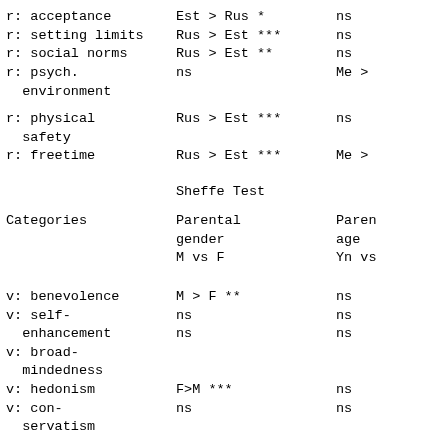| Categories | Parental nationality Est vs Rus | Parental nationality Me vs ... |
| --- | --- | --- |
| r: acceptance | Est > Rus * | ns |
| r: setting limits | Rus > Est *** | ns |
| r: social norms | Rus > Est ** | ns |
| r: psych. environment | ns | Me > |
| r: physical safety | Rus > Est *** | ns |
| r: freetime | Rus > Est *** | Me > |
Sheffe Test
| Categories | Parental gender M vs F | Parental age Yn vs ... |
| --- | --- | --- |
| v: benevolence | M > F ** | ns |
| v: self-enhancement | ns | ns |
| v: broad-mindedness | ns | ns |
| v: hedonism | F>M *** | ns |
| v: con-servatism | ns | ns |
| v: self-realiza-tion | ns | ns |